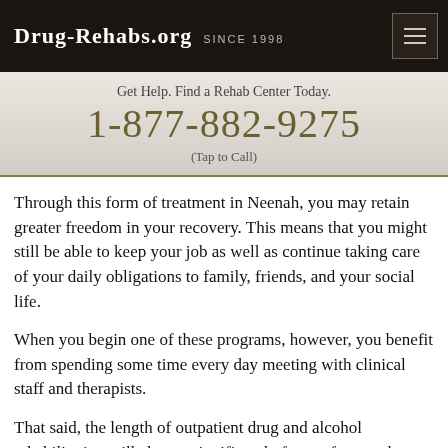Drug-Rehabs.org Since 1998
Get Help. Find a Rehab Center Today.
1-877-882-9275
(Tap to Call)
Through this form of treatment in Neenah, you may retain greater freedom in your recovery. This means that you might still be able to keep your job as well as continue taking care of your daily obligations to family, friends, and your social life.
When you begin one of these programs, however, you benefit from spending some time every day meeting with clinical staff and therapists.
That said, the length of outpatient drug and alcohol rehabilitation will change significantly from a few weeks to about three months. This is because this is the period when most addicts have the highest risk of relapsing.